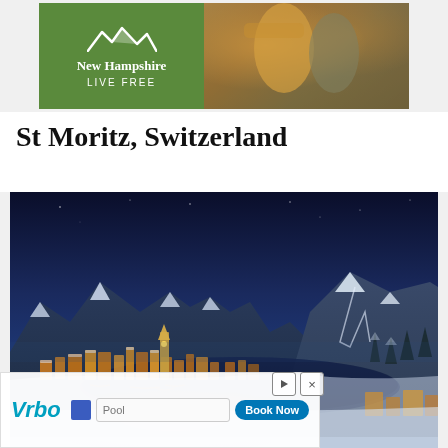[Figure (illustration): New Hampshire LIVE FREE advertisement banner. Left side is green with mountain logo and white text 'New Hampshire LIVE FREE'. Right side shows a photo of people outdoors in warm clothing.]
St Moritz, Switzerland
[Figure (photo): Night aerial photograph of St Moritz, Switzerland in winter. The town is illuminated with golden lights against a dark blue twilight sky, surrounded by snow-covered Alps and a frozen lake.]
[Figure (illustration): Vrbo advertisement overlay at bottom. Shows Vrbo logo in teal italic text, a search bar with 'Pool' placeholder text, a blue 'Book Now' button, and play/close controls.]